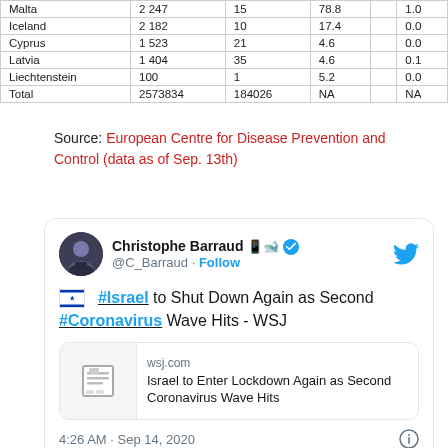|  |  |  |  |  |
| --- | --- | --- | --- | --- |
| Malta | 2 247 | 15 | 78.8 | 1.0 |
| Iceland | 2 182 | 10 | 17.4 | 0.0 |
| Cyprus | 1 523 | 21 | 4.6 | 0.0 |
| Latvia | 1 404 | 35 | 4.6 | 0.1 |
| Liechtenstein | 100 | 1 | 5.2 | 0.0 |
| Total | 2573834 | 184026 | NA | NA |
Source: European Centre for Disease Prevention and Control (data as of Sep. 13th)
[Figure (screenshot): Tweet by Christophe Barraud (@C_Barraud) with hashtag #Israel to Shut Down Again as Second #Coronavirus Wave Hits - WSJ, with WSJ article link card. Posted 4:26 AM · Sep 14, 2020.]